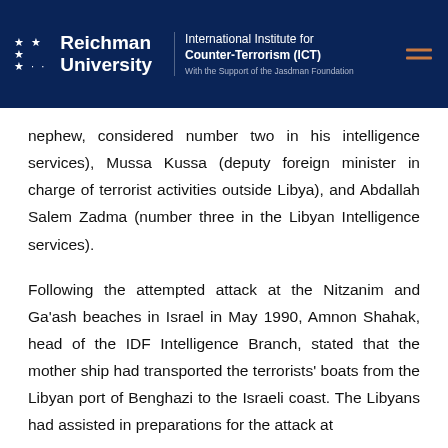Reichman University — International Institute for Counter-Terrorism (ICT) — With the Support of the Jasdman Foundation
nephew, considered number two in his intelligence services), Mussa Kussa (deputy foreign minister in charge of terrorist activities outside Libya), and Abdallah Salem Zadma (number three in the Libyan Intelligence services).
Following the attempted attack at the Nitzanim and Ga'ash beaches in Israel in May 1990, Amnon Shahak, head of the IDF Intelligence Branch, stated that the mother ship had transported the terrorists' boats from the Libyan port of Benghazi to the Israeli coast. The Libyans had assisted in preparations for the attack at